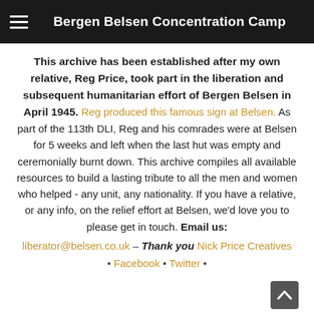Bergen Belsen Concentration Camp
This archive has been established after my own relative, Reg Price, took part in the liberation and subsequent humanitarian effort of Bergen Belsen in April 1945. Reg produced this famous sign at Belsen. As part of the 113th DLI, Reg and his comrades were at Belsen for 5 weeks and left when the last hut was empty and ceremonially burnt down. This archive compiles all available resources to build a lasting tribute to all the men and women who helped - any unit, any nationality. If you have a relative, or any info, on the relief effort at Belsen, we'd love you to please get in touch. Email us: liberator@belsen.co.uk – Thank you Nick Price Creatives • Facebook • Twitter •